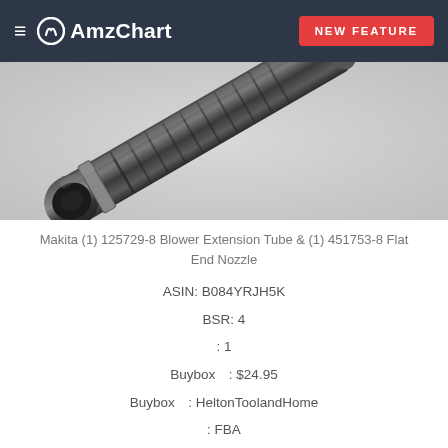≡ AmzChart | NEW FEATURE
[Figure (photo): Photo of a Makita blower extension tube and flat end nozzle, black metal cylindrical tool shown at an angle]
Makita (1) 125729-8 Blower Extension Tube & (1) 451753-8 Flat End Nozzle
ASIN: B084YRJH5K
BSR: 4
: 1
Buybox　: $24.95
Buybox　: HeltonToolandHome
: FBA
: 2020-02-19
: Tools & Home Improvement->Power & Hand Tools-